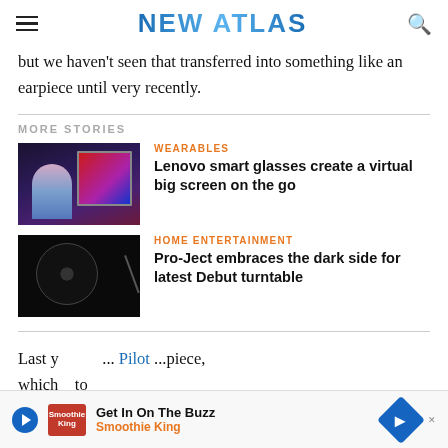NEW ATLAS
but we haven't seen that transferred into something like an earpiece until very recently.
MORE STORIES
[Figure (photo): Woman sitting on couch with large virtual/holographic display screen behind her - Wearables story thumbnail]
WEARABLES
Lenovo smart glasses create a virtual big screen on the go
[Figure (photo): Black turntable on dark background - Home Entertainment story thumbnail]
HOME ENTERTAINMENT
Pro-Ject embraces the dark side for latest Debut turntable
Last y... Pilot ...piece, which... to
Get In On The Buzz
Smoothie King